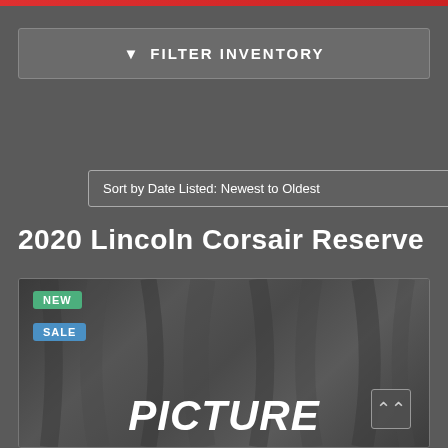FILTER INVENTORY
Sort by Date Listed: Newest to Oldest
2020 Lincoln Corsair Reserve
[Figure (screenshot): Car listing image placeholder showing 'PICTURE COMING SOON' text over dark fabric/curtain background, with NEW and SALE badges in top left corner]